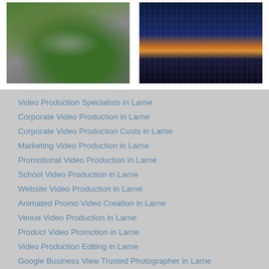[Figure (photo): Aerial view of a construction or industrial site with roads, vehicles, and green areas]
[Figure (photo): Night aerial view of a city intersection with light trails from traffic and tall buildings]
Video Production Specialists in Larne
Corporate Video Production in Larne
Corporate Video Production Costs in Larne
Marketing Video Production in Larne
Promotional Video Production in Larne
School Video Production in Larne
Website Video Production in Larne
Animated Promo Video Creation in Larne
Venue Video Production in Larne
Product Video Promotion in Larne
Video Production Editing in Larne
Google Business View Trusted Photographer in Larne
Created by © ShowReel